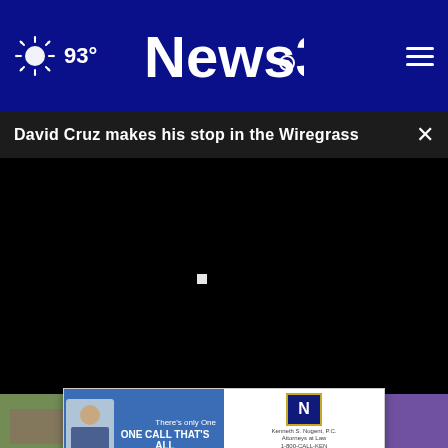News3 | 93°
David Cruz makes his stop in the Wiregrass
[Figure (screenshot): Black video player area with a small white play indicator in the center-left]
[Figure (photo): Thumbnail of a building exterior on the left side]
[Figure (screenshot): Purple/violet toned thumbnail on the right side with a close button]
[Figure (screenshot): Advertisement banner: There's only One / ONE CALL THAT'S ALL / Kenneth S. Nugent attorney with Play Video button]